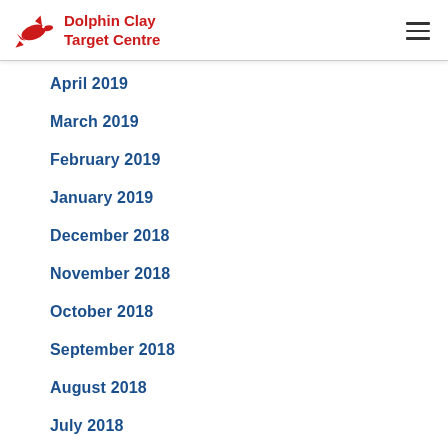Dolphin Clay Target Centre
April 2019
March 2019
February 2019
January 2019
December 2018
November 2018
October 2018
September 2018
August 2018
July 2018